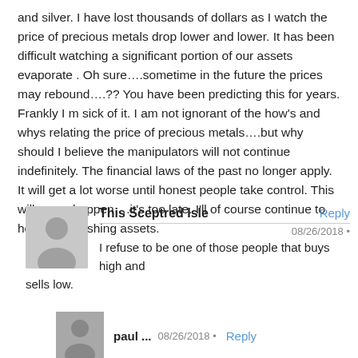and silver. I have lost thousands of dollars as I watch the price of precious metals drop lower and lower. It has been difficult watching a significant portion of our assets evaporate . Oh sure….sometime in the future the prices may rebound….?? You have been predicting this for years. Frankly I m sick of it. I am not ignorant of the how's and whys relating the price of precious metals….but why should I believe the manipulators will not continue indefinitely. The financial laws of the past no longer apply. It will get a lot worse until honest people take control. This will never happen….it's too late. I'll of course continue to hold my dimishing assets.
[Figure (other): Gray avatar silhouette icon for commenter This Sceptred Isle]
This Sceptred Isle
Reply
08/26/2018 •
I refuse to be one of those people that buys high and sells low.
[Figure (other): Gray avatar silhouette icon for commenter paul ...]
paul ...
08/26/2018 •
Reply